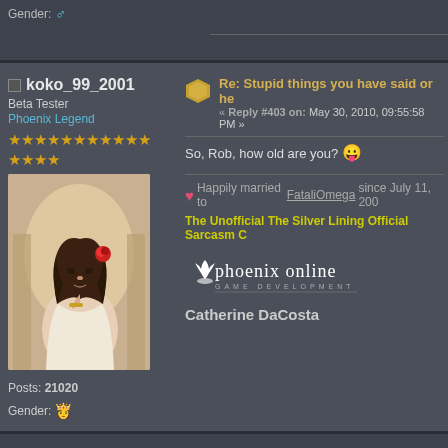Gender: ♂
koko_99_2001
Beta Tester
Phoenix Legend
★★★★★★★★★★★
★★★★
[Figure (illustration): Avatar image of a dark-haired woman with a red rose in her hair, wearing a white dress, with a golden arch background]
Posts: 21020
Gender: ♀
Re: Stupid things you have said or he
« Reply #403 on: May 30, 2010, 09:55:58 PM »
So, Rob, how old are you? 😛
Happily married to FataliOmega since July 11, 200
The Unofficial The Silver Lining Official Sarcasm C
[Figure (logo): Phoenix Online Game Development logo with crown icon]
Catherine DaCosta